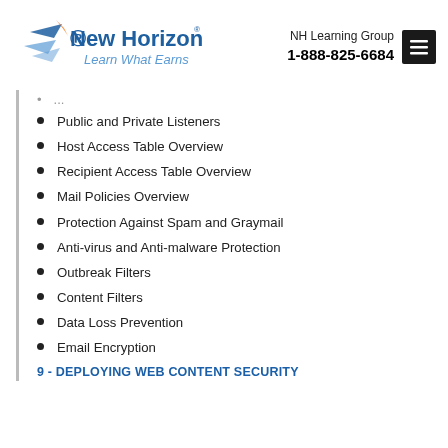[Figure (logo): New Horizons logo with tagline 'Learn What Earns']
NH Learning Group
1-888-825-6684
Public and Private Listeners
Host Access Table Overview
Recipient Access Table Overview
Mail Policies Overview
Protection Against Spam and Graymail
Anti-virus and Anti-malware Protection
Outbreak Filters
Content Filters
Data Loss Prevention
Email Encryption
9 - DEPLOYING WEB CONTENT SECURITY